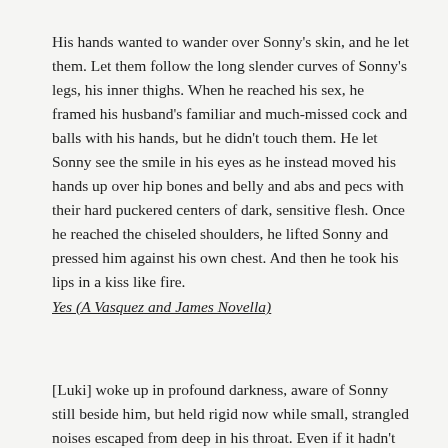His hands wanted to wander over Sonny's skin, and he let them. Let them follow the long slender curves of Sonny's legs, his inner thighs. When he reached his sex, he framed his husband's familiar and much-missed cock and balls with his hands, but he didn't touch them. He let Sonny see the smile in his eyes as he instead moved his hands up over hip bones and belly and abs and pecs with their hard puckered centers of dark, sensitive flesh. Once he reached the chiseled shoulders, he lifted Sonny and pressed him against his own chest. And then he took his lips in a kiss like fire.
Yes (A Vasquez and James Novella)
[Luki] woke up in profound darkness, aware of Sonny still beside him, but held rigid now while small, strangled noises escaped from deep in his throat. Even if it hadn't been for